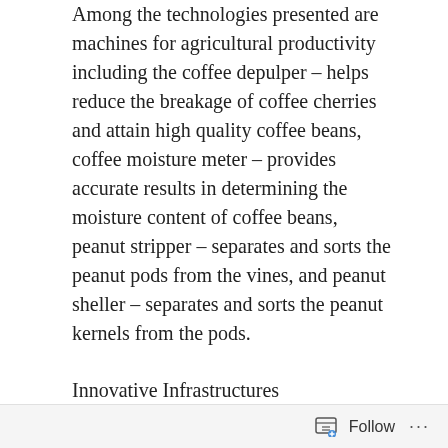Among the technologies presented are machines for agricultural productivity including the coffee depulper – helps reduce the breakage of coffee cherries and attain high quality coffee beans, coffee moisture meter – provides accurate results in determining the moisture content of coffee beans, peanut stripper – separates and sorts the peanut pods from the vines, and peanut sheller – separates and sorts the peanut kernels from the pods.
Innovative Infrastructures
Included in the offering are technological infrastructures for postharvest activities such as the coffee dryer which provides a drying alternative through a greenhouse-type solar dryer retrofitted with biomass furnace for coffee beans, operating at
Follow ···